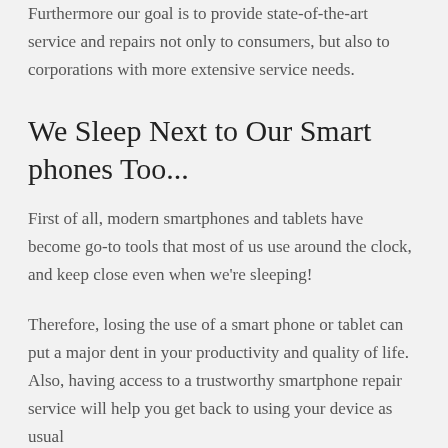Furthermore our goal is to provide state-of-the-art service and repairs not only to consumers, but also to corporations with more extensive service needs.
We Sleep Next to Our Smart phones Too...
First of all, modern smartphones and tablets have become go-to tools that most of us use around the clock, and keep close even when we're sleeping!
Therefore, losing the use of a smart phone or tablet can put a major dent in your productivity and quality of life. Also, having access to a trustworthy smartphone repair service will help you get back to using your device as usual